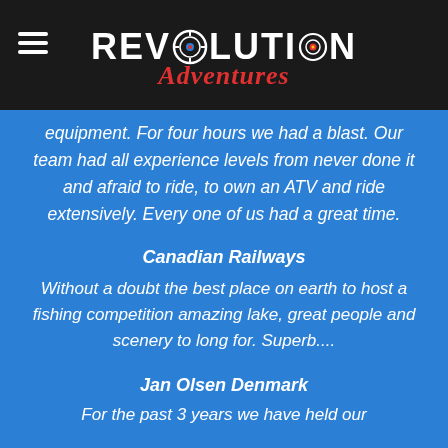[Figure (logo): Revolution Adventures logo with hamburger menu icon on dark background. White bold text REVOLUTION with stylized O containing a target/reel graphic, and red italic cursive 'Adventures' below.]
equipment. For four hours we had a blast. Our team had all experience levels from never done it and afraid to ride, to own an ATV and ride extensively. Every one of us had a great time.
Canadian Railways
Without a doubt the best place on earth to host a fishing competition amazing lake, great people and scenery to long for. Superb....
Jan Olsen Denmark
For the past 3 years we have held our